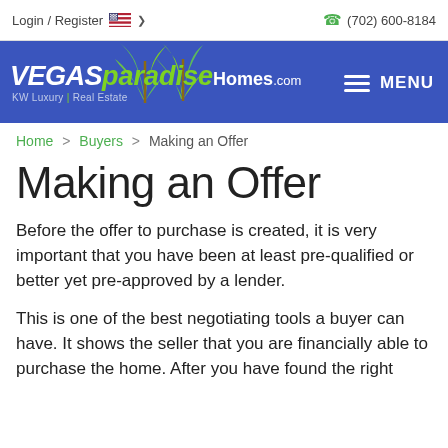Login / Register  🇺🇸 ∨   (702) 600-8184
[Figure (logo): VEGASparadiseHomes.com KW Luxury | Real Estate logo with green palm trees on blue banner background, with hamburger MENU button on right]
Home > Buyers > Making an Offer
Making an Offer
Before the offer to purchase is created, it is very important that you have been at least pre-qualified or better yet pre-approved by a lender.
This is one of the best negotiating tools a buyer can have. It shows the seller that you are financially able to purchase the home. After you have found the right